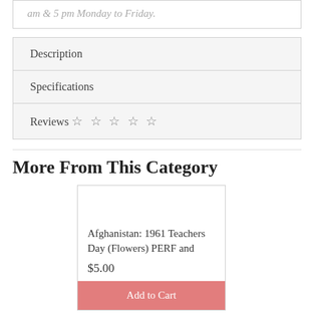am & 5 pm Monday to Friday.
Description
Specifications
Reviews ☆ ☆ ☆ ☆ ☆
More From This Category
Afghanistan: 1961 Teachers Day (Flowers) PERF and
$5.00
Add to Cart